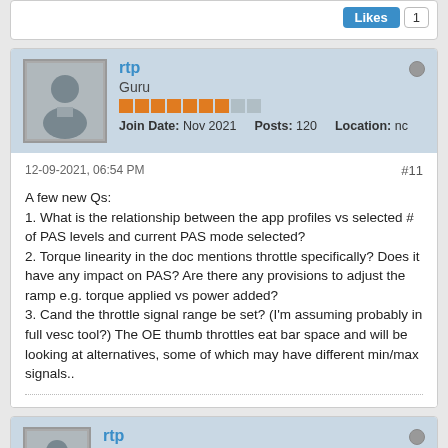[Figure (other): Likes button with count 1 at top right of partial post card]
[Figure (photo): Gray silhouette avatar for user rtp]
rtp
Guru
Join Date: Nov 2021   Posts: 120   Location: nc
12-09-2021, 06:54 PM
#11
A few new Qs:
1. What is the relationship between the app profiles vs selected # of PAS levels and current PAS mode selected?
2. Torque linearity in the doc mentions throttle specifically? Does it have any impact on PAS? Are there any provisions to adjust the ramp e.g. torque applied vs power added?
3. Cand the throttle signal range be set? (I'm assuming probably in full vesc tool?) The OE thumb throttles eat bar space and will be looking at alternatives, some of which may have different min/max signals..
[Figure (photo): Gray silhouette avatar for user rtp (bottom card)]
rtp
Guru
Join Date: Nov 2021   Posts: 120   Location:...